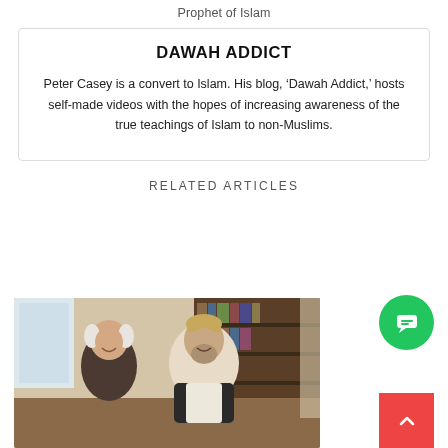Prophet of Islam
DAWAH ADDICT
Peter Casey is a convert to Islam. His blog, ‘Dawah Addict,’ hosts self-made videos with the hopes of increasing awareness of the true teachings of Islam to non-Muslims.
RELATED ARTICLES
[Figure (photo): Two elderly men, one wearing a kufi cap and traditional South Asian clothing, the other in dark clothing, laughing and talking together in a room with bookshelves in the background.]